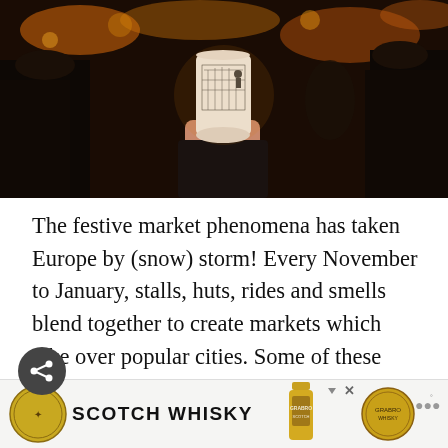[Figure (photo): A hand holding a white cup with a black sketch of a building/city scene printed on it, surrounded by a blurred festive market crowd with warm bokeh lights in the background.]
The festive market phenomena has taken Europe by (snow) storm! Every November to January, stalls, huts, rides and smells blend together to create markets which take over popular cities. Some of these European Xmas markets are older than the USA as we know it! This guide details the cities for Christmas markets from the traditional twenty in Vienna to Edinburgh's cosy bo
[Figure (advertisement): Advertisement banner for Scotch Whisky showing a logo badge, 'SCOTCH WHISKY' text, and a bottle image with GRABRO label. Also shows a play triangle icon, X close button.]